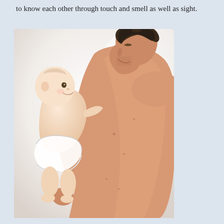to know each other through touch and smell as well as sight.
[Figure (photo): A shirtless father holding up a baby in a diaper, both facing each other and smiling, bonding moment captured in warm indoor light.]